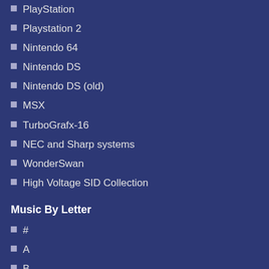PlayStation
Playstation 2
Nintendo 64
Nintendo DS
Nintendo DS (old)
MSX
TurboGrafx-16
NEC and Sharp systems
WonderSwan
High Voltage SID Collection
Music By Letter
#
A
B
C
D
E
SFX
SFX
SFX
SFX
SFX
SFX
SFX
SFX
Related
People who listend